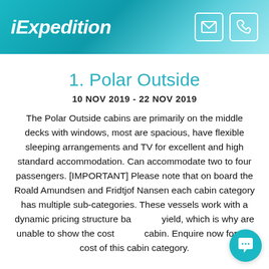iExpedition
1. Polar Outside
10 NOV 2019 - 22 NOV 2019
The Polar Outside cabins are primarily on the middle decks with windows, most are spacious, have flexible sleeping arrangements and TV for excellent and high standard accommodation. Can accommodate two to four passengers. [IMPORTANT] Please note that on board the Roald Amundsen and Fridtjof Nansen each cabin category has multiple sub-categories. These vessels work with a dynamic pricing structure based on yield, which is why are unable to show the cost of this cabin. Enquire now for the cost of this cabin category.